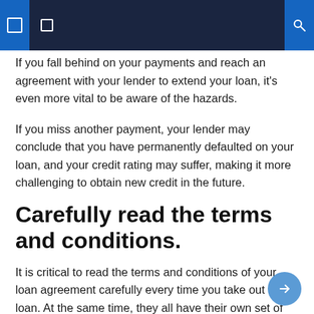Navigation bar with menu icons and search
If you fall behind on your payments and reach an agreement with your lender to extend your loan, it’s even more vital to be aware of the hazards.
If you miss another payment, your lender may conclude that you have permanently defaulted on your loan, and your credit rating may suffer, making it more challenging to obtain new credit in the future.
Carefully read the terms and conditions.
It is critical to read the terms and conditions of your loan agreement carefully every time you take out a loan. At the same time, they all have their own set of terms and conditions, and you must be comfortable with them.